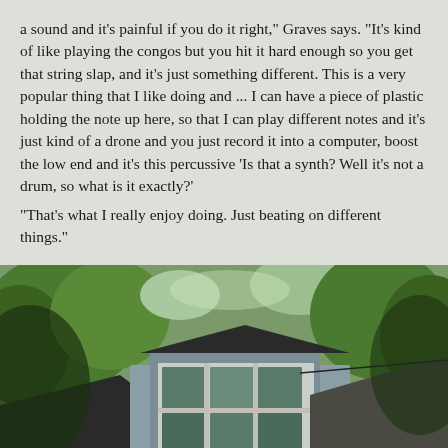a sound and it's painful if you do it right," Graves says. "It's kind of like playing the congos but you hit it hard enough so you get that string slap, and it's just something different. This is a very popular thing that I like doing and ... I can have a piece of plastic holding the note up here, so that I can play different notes and it's just kind of a drone and you just record it into a computer, boost the low end and it's this percussive 'Is that a synth? Well it's not a drum, so what is it exactly?'
"That's what I really enjoy doing. Just beating on different things."
[Figure (photo): Exterior photo of a house with a dormer window, surrounded by green trees, taken from a low angle looking up. Dark roof and light-colored siding visible.]
TWEET
SHARE